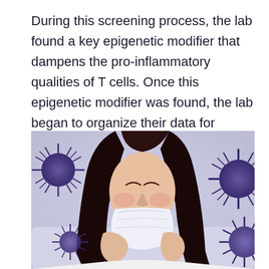During this screening process, the lab found a key epigenetic modifier that dampens the pro-inflammatory qualities of T cells. Once this epigenetic modifier was found, the lab began to organize their data for publication.
[Figure (photo): A woman with dark hair sneezing into a tissue, with purple spiky coronavirus/pollen particles floating around her in the foreground and background, set in a light interior background.]